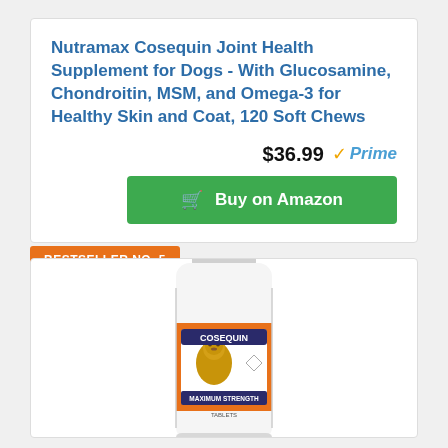Nutramax Cosequin Joint Health Supplement for Dogs - With Glucosamine, Chondroitin, MSM, and Omega-3 for Healthy Skin and Coat, 120 Soft Chews
$36.99 Prime
Buy on Amazon
BESTSELLER NO. 5
[Figure (photo): Product bottle of Cosequin Maximum Strength joint health supplement for dogs, white bottle with orange label showing a golden retriever dog.]